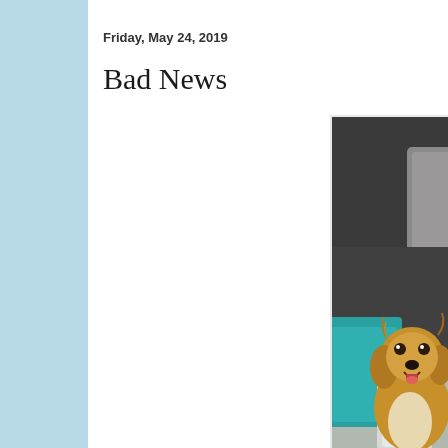Friday, May 24, 2019
Bad News
[Figure (photo): A golden/spaniel mix dog sitting on or near a dark grey/charcoal sofa with a teal/turquoise pillow and a white pillow. The dog has fluffy golden-brown fur, dark eyes, and its mouth is slightly open. Natural light comes from a window in the background.]